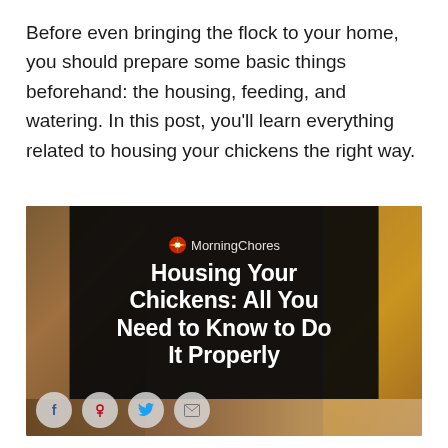Before even bringing the flock to your home, you should prepare some basic things beforehand: the housing, feeding, and watering. In this post, you'll learn everything related to housing your chickens the right way.
[Figure (screenshot): MorningChores article thumbnail image showing a chicken coop in the background with a dark overlay containing the article title 'Housing Your Chickens: All You Need to Know to Do It Properly' and social share buttons (Facebook, Pinterest, Twitter, Email) along the bottom.]